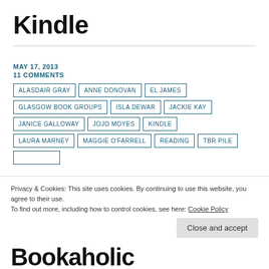Kindle
MAY 17, 2013
11 COMMENTS
ALASDAIR GRAY
ANNE DONOVAN
EL JAMES
GLASGOW BOOK GROUPS
ISLA DEWAR
JACKIE KAY
JANICE GALLOWAY
JOJO MOYES
KINDLE
LAURA MARNEY
MAGGIE O'FARRELL
READING
TBR PILE
Privacy & Cookies: This site uses cookies. By continuing to use this website, you agree to their use. To find out more, including how to control cookies, see here: Cookie Policy
Close and accept
Bookaholic